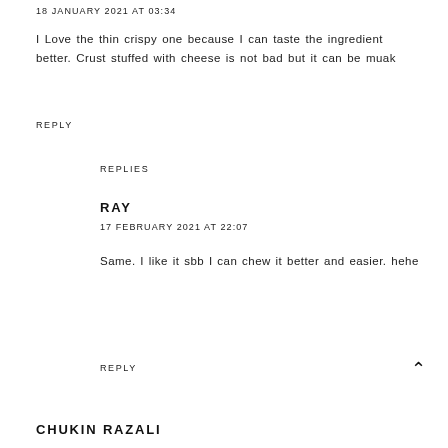18 JANUARY 2021 AT 03:34
I Love the thin crispy one because I can taste the ingredient better. Crust stuffed with cheese is not bad but it can be muak
REPLY
REPLIES
RAY
17 FEBRUARY 2021 AT 22:07
Same. I like it sbb I can chew it better and easier. hehe
REPLY
CHUKIN RAZALI